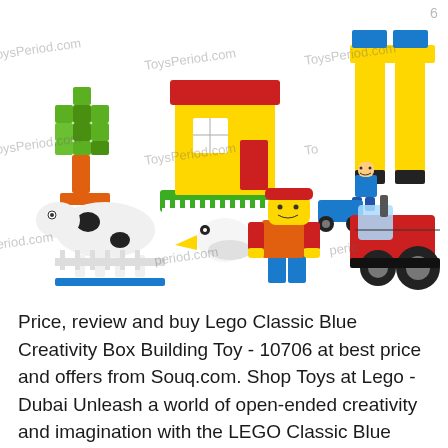[Figure (photo): Product photo of LEGO Classic Blue Creativity Box Building Toy set 10706, showing various builds: a pixel-art tree, a yellow house with red roof, a cow, a pelican/duck, a LEGO minifigure person, a small blue car, a blue minifigure, a large yellow arch structure, and a red tractor. Multiple ToysPeriod.com watermarks overlaid diagonally across the image.]
Price, review and buy Lego Classic Blue Creativity Box Building Toy - 10706 at best price and offers from Souq.com. Shop Toys at Lego - Dubai Unleash a world of open-ended creativity and imagination with the LEGO Classic Blue Creativity Box.